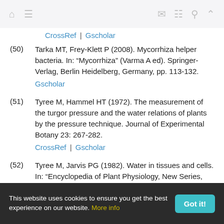Navigation bar with home, menu, mail, grid, search, and up icons
CrossRef | Gscholar
(50) Tarka MT, Frey-Klett P (2008). Mycorrhiza helper bacteria. In: “Mycorrhiza” (Varma A ed). Springer-Verlag, Berlin Heidelberg, Germany, pp. 113-132. Gscholar
(51) Tyree M, Hammel HT (1972). The measurement of the turgor pressure and the water relations of plants by the pressure technique. Journal of Experimental Botany 23: 267-282. CrossRef | Gscholar
(52) Tyree M, Jarvis PG (1982). Water in tissues and cells. In: “Encyclopedia of Plant Physiology, New Series, Vol
This website uses cookies to ensure you get the best experience on our website. More info